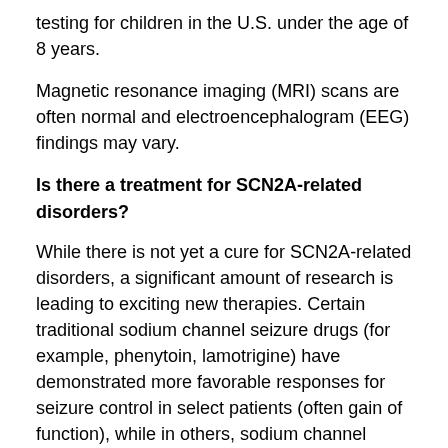testing for children in the U.S. under the age of 8 years.
Magnetic resonance imaging (MRI) scans are often normal and electroencephalogram (EEG) findings may vary.
Is there a treatment for SCN2A-related disorders?
While there is not yet a cure for SCN2A-related disorders, a significant amount of research is leading to exciting new therapies. Certain traditional sodium channel seizure drugs (for example, phenytoin, lamotrigine) have demonstrated more favorable responses for seizure control in select patients (often gain of function), while in others, sodium channel drugs may aggravate seizures.
New drugs are being developed that specifically target the abnormal channel produced by SCN2A. These